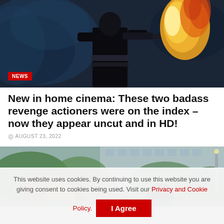[Figure (photo): Action movie still showing a figure in tactical gear holding a weapon with a large flame burst, set against a dark blue smoky background]
NEWS
New in home cinema: These two badass revenge actioners were on the index – now they appear uncut and in HD!
AUGUST 23, 2022
[Figure (photo): Movie still showing people crouching outdoors near a building with green foliage in the background]
This website uses cookies. By continuing to use this website you are giving consent to cookies being used. Visit our Privacy and Cookie Policy.
I Agree